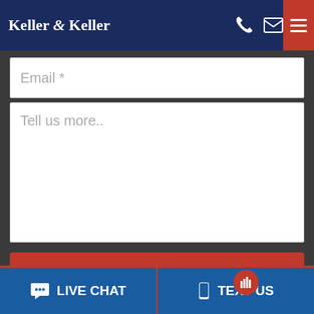[Figure (screenshot): Keller & Keller law firm website header with logo, phone icon, mail icon, and red hamburger menu button]
Email *
Tell us more..
FREE CASE EVALUATION
Protected By Google reCAPTCHA | Privacy -
[Figure (other): Online Agent chat widget with Keller & Keller logo, notification badge with bar chart icon, green online dot, and 'Online Agent' red label]
LIVE CHAT
TEXT US